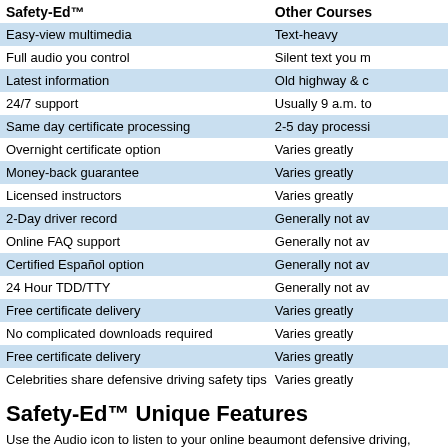| Safety-Ed™ | Other Courses |
| --- | --- |
| Easy-view multimedia | Text-heavy |
| Full audio you control | Silent text you m |
| Latest information | Old highway & c |
| 24/7 support | Usually 9 a.m. to |
| Same day certificate processing | 2-5 day processi |
| Overnight certificate option | Varies greatly |
| Money-back guarantee | Varies greatly |
| Licensed instructors | Varies greatly |
| 2-Day driver record | Generally not av |
| Online FAQ support | Generally not av |
| Certified Español option | Generally not av |
| 24 Hour TDD/TTY | Generally not av |
| Free certificate delivery | Varies greatly |
| No complicated downloads required | Varies greatly |
| Free certificate delivery | Varies greatly |
| Celebrities share defensive driving safety tips | Varies greatly |
Safety-Ed™ Unique Features
Use the Audio icon to listen to your online beaumont defensive driving, traffic safety school course as you go. Select between English and Spanish. We al transcribed audio for the hearing impaired. We know of no other online defer school driving safety school course that offers our great flexibility, quality, va